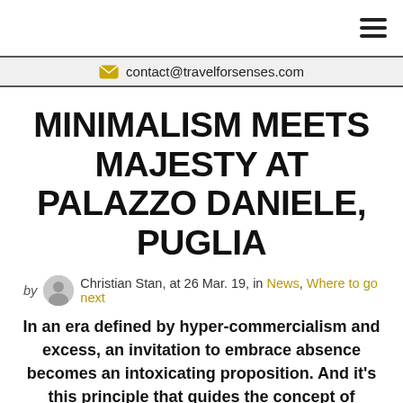≡ (hamburger menu icon)
✉ contact@travelforsenses.com
MINIMALISM MEETS MAJESTY AT PALAZZO DANIELE, PUGLIA
by Christian Stan, at 26 Mar. 19, in News, Where to go next
In an era defined by hyper-commercialism and excess, an invitation to embrace absence becomes an intoxicating proposition. And it's this principle that guides the concept of Palazzo Daniele, a nine-suite property housed in the 150-year-old former family